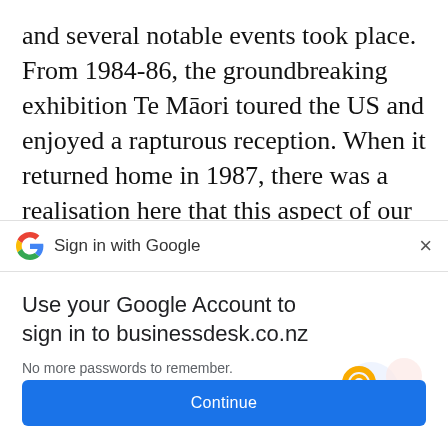and several notable events took place. From 1984-86, the groundbreaking exhibition Te Māori toured the US and enjoyed a rapturous reception. When it returned home in 1987, there was a realisation here that this aspect of our country's culture had been totally overlooked and undervalued; this was the start of an awakening awareness of New Zealand's dual identity that grew through the
[Figure (screenshot): Google Sign-in bar with Google logo, 'Sign in with Google' text, and a close (X) button]
Use your Google Account to sign in to businessdesk.co.nz
No more passwords to remember. Signing in is fast, simple and secure.
[Figure (illustration): Key and colorful circles illustration representing Google account security]
Continue